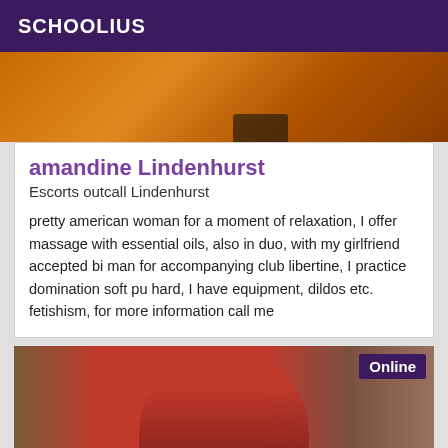SCHOOLIUS
[Figure (photo): Top portion of a photo with warm orange/brown tones, partially visible]
amandine Lindenhurst
Escorts outcall Lindenhurst
pretty american woman for a moment of relaxation, I offer massage with essential oils, also in duo, with my girlfriend accepted bi man for accompanying club libertine, I practice domination soft pu hard, I have equipment, dildos etc. fetishism, for more information call me
[Figure (photo): Photo of a woman wearing a red top, with an 'Online' badge overlay in the upper right corner]